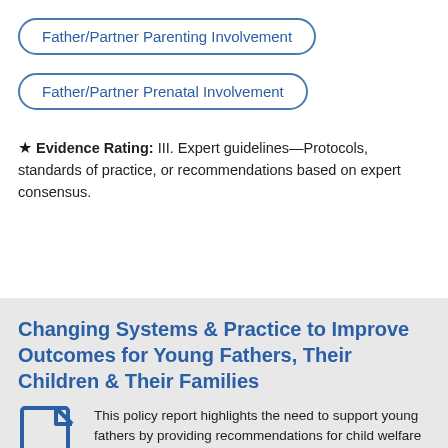Father/Partner Parenting Involvement
Father/Partner Prenatal Involvement
★ Evidence Rating: III. Expert guidelines—Protocols, standards of practice, or recommendations based on expert consensus.
Changing Systems & Practice to Improve Outcomes for Young Fathers, Their Children & Their Families
This policy report highlights the need to support young fathers by providing recommendations for child welfare system policy and practice change. Research shows that the relationship between fathers and their children is essential to the well-being of families and the healthy